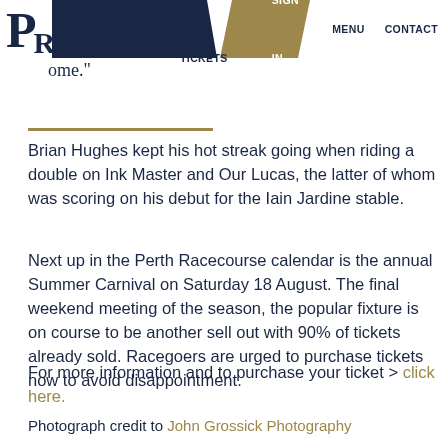BUY TICKETS  SIGN IN  MENU  CONTACT
ome."
Brian Hughes kept his hot streak going when riding a double on Ink Master and Our Lucas, the latter of whom was scoring on his debut for the Iain Jardine stable.
Next up in the Perth Racecourse calendar is the annual Summer Carnival on Saturday 18 August. The final weekend meeting of the season, the popular fixture is on course to be another sell out with 90% of tickets already sold. Racegoers are urged to purchase tickets now to avoid disappointment.
For more information and to purchase your ticket > click here.
Photograph credit to John Grossick Photography